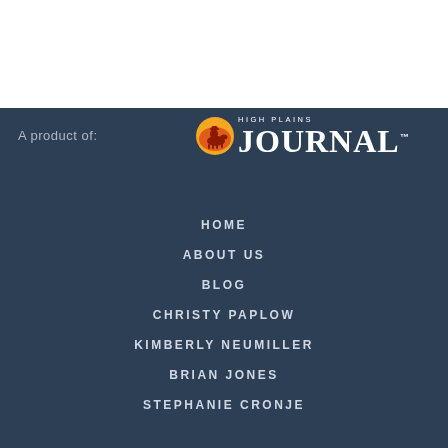[Figure (logo): High Plains Journal logo with orange circle containing a cowboy on horseback silhouette, with 'HIGH PLAINS' in small caps and 'JOURNAL' in large serif text with TM mark]
A product of:
HOME
ABOUT US
BLOG
CHRISTY PAPLOW
KIMBERLY NEUMILLER
BRIAN JONES
STEPHANIE CRONJE